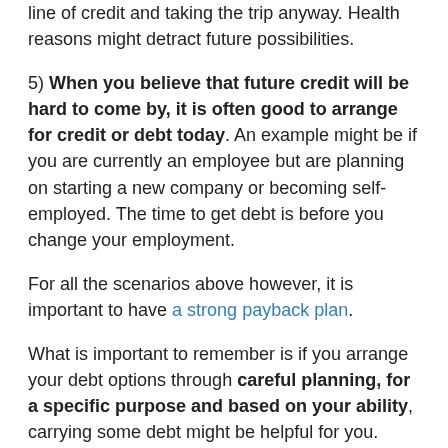line of credit and taking the trip anyway. Health reasons might detract future possibilities.
5) When you believe that future credit will be hard to come by, it is often good to arrange for credit or debt today. An example might be if you are currently an employee but are planning on starting a new company or becoming self-employed. The time to get debt is before you change your employment.
For all the scenarios above however, it is important to have a strong payback plan.
What is important to remember is if you arrange your debt options through careful planning, for a specific purpose and based on your ability, carrying some debt might be helpful for you.